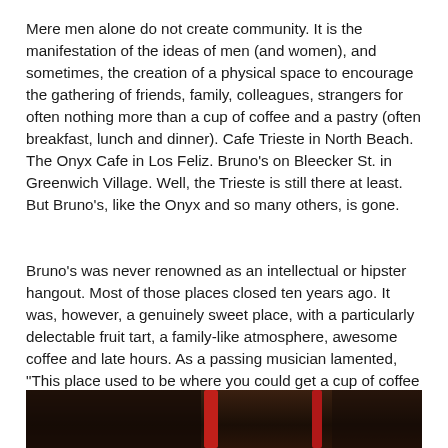Mere men alone do not create community. It is the manifestation of the ideas of men (and women), and sometimes, the creation of a physical space to encourage the gathering of friends, family, colleagues, strangers for often nothing more than a cup of coffee and a pastry (often breakfast, lunch and dinner). Cafe Trieste in North Beach. The Onyx Cafe in Los Feliz. Bruno's on Bleecker St. in Greenwich Village. Well, the Trieste is still there at least. But Bruno's, like the Onyx and so many others, is gone.
Bruno's was never renowned as an intellectual or hipster hangout. Most of those places closed ten years ago. It was, however, a genuinely sweet place, with a particularly delectable fruit tart, a family-like atmosphere, awesome coffee and late hours. As a passing musician lamented, "This place used to be where you could get a cup of coffee at 2 in the morning. And now they're gone. New York is driving out all it's artists." Oh, you noticed?
[Figure (photo): Dark interior photo showing what appears to be ceiling or structural elements with red bar/pole accents against a dark brown background]